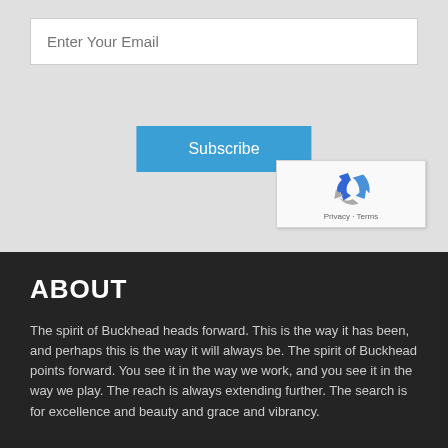[Figure (screenshot): Email input field with placeholder text 'Enter Your Email' on a light gray background]
[Figure (screenshot): Blue Subscribe button centered on light gray background]
[Figure (screenshot): Google reCAPTCHA widget with blue/gray arrow logo and Privacy - Terms text]
ABOUT
The spirit of Buckhead heads forward. This is the way it has been, and perhaps this is the way it will always be. The spirit of Buckhead points forward. You see it in the way we work, and you see it in the way we play. The reach is always extending further. The search is for excellence and beauty and grace and vibrancy.